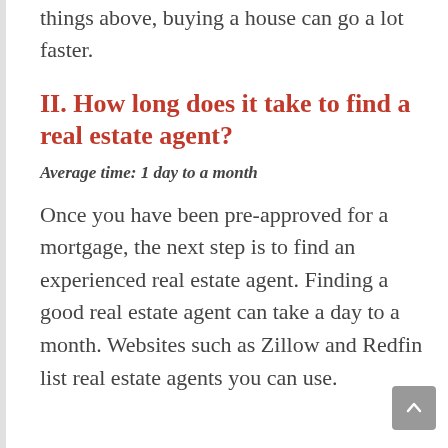But once you have taken care the things above, buying a house can go a lot faster.
II. How long does it take to find a real estate agent?
Average time: 1 day to a month
Once you have been pre-approved for a mortgage, the next step is to find an experienced real estate agent. Finding a good real estate agent can take a day to a month. Websites such as Zillow and Redfin list real estate agents you can use.